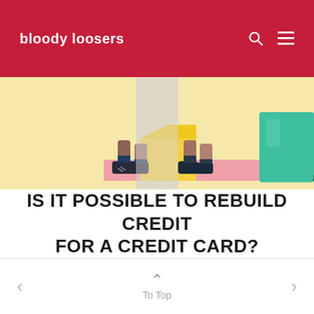bloody loosers
[Figure (illustration): Colorful illustration of legs/feet in boots on a yellow pedestal, with 'Bloody Loosers' text watermark. Pastel background with pink and teal accents.]
IS IT POSSIBLE TO REBUILD CREDIT FOR A CREDIT CARD?
In Personal Finance
To Top